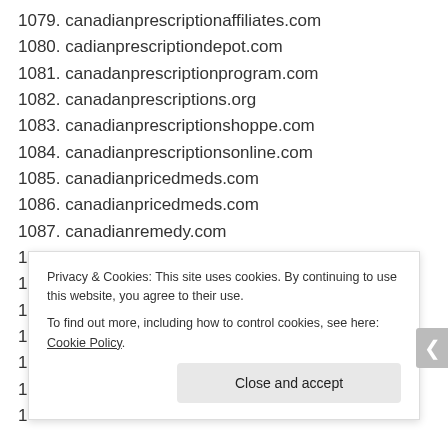1079. canadianprescriptionaffiliates.com
1080. cadianprescriptiondepot.com
1081. canadanprescriptionprogram.com
1082. canadanprescriptions.org
1083. canadianprescriptionshoppe.com
1084. canadianprescriptionsonline.com
1085. canadianpricedmeds.com
1086. canadianpricedmeds.com
1087. canadianremedy.com
1088. canadianrx.biz
1089. canadianrx.com
1090. canadianrx.info
1091. canadianrx.org
Privacy & Cookies: This site uses cookies. By continuing to use this website, you agree to their use. To find out more, including how to control cookies, see here: Cookie Policy